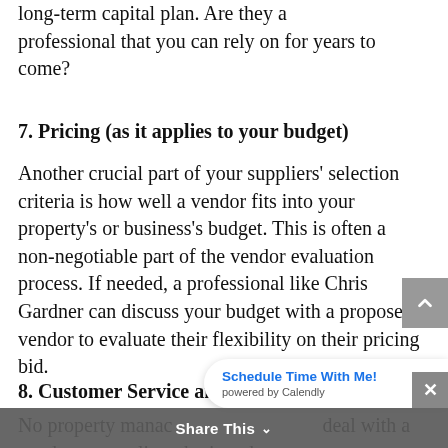long-term capital plan. Are they a professional that you can rely on for years to come?
7. Pricing (as it applies to your budget)
Another crucial part of your suppliers' selection criteria is how well a vendor fits into your property's or business's budget. This is often a non-negotiable part of the vendor evaluation process. If needed, a professional like Chris Gardner can discuss your budget with a proposed vendor to evaluate their flexibility on their pricing bid.
8. Customer Service and Responsiveness
No property manac deal with a vendor or supplier who is rude
Schedule Time With Me! powered by Calendly
Share This